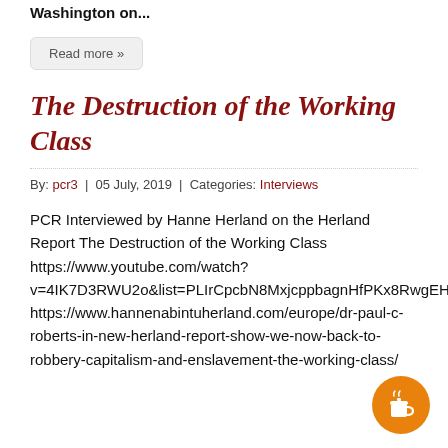Washington on...
Read more »
The Destruction of the Working Class
By: pcr3  |  05 July, 2019  |  Categories: Interviews
PCR Interviewed by Hanne Herland on the Herland Report The Destruction of the Working Class https://www.youtube.com/watch?v=4IK7D3RWU2o&list=PLIrCpcbN8MxjcppbagnHfPKx8RwgEHbX4&index=2&t=116s https://www.hannenabintuherland.com/europe/dr-paul-c-roberts-in-new-herland-report-show-we-now-back-to-robbery-capitalism-and-enslavement-the-working-class/